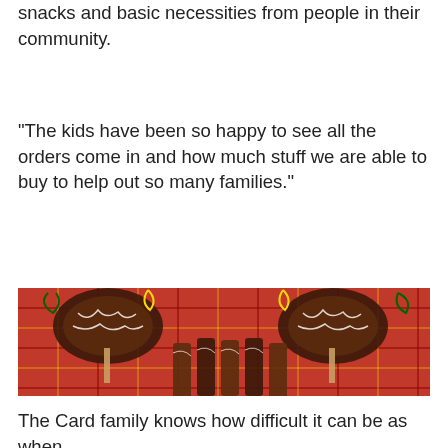On top of that, they received over $500 worth of toys, snacks and basic necessities from people in their community.
"The kids have been so happy to see all the orders come in and how much stuff we are able to buy to help out so many families."
[Figure (photo): Photo of chocolate-dipped pretzels and chocolate-covered cake pops arranged on a red plaid round tray, decorated with green and gold ribbon curls.]
The Card family knows how difficult it can be as when